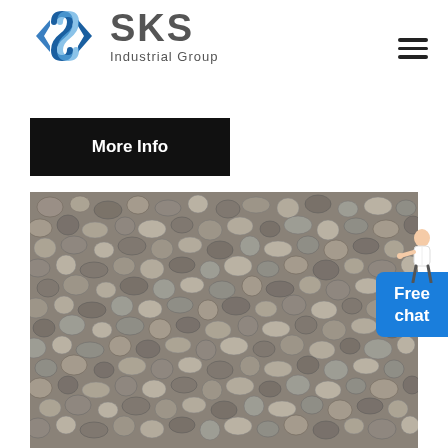[Figure (logo): SKS Industrial Group logo with angular S symbol in blue and gray, company name text]
More Info
[Figure (photo): Close-up photo of gray and brown gravel/crushed stone aggregate material]
Free chat